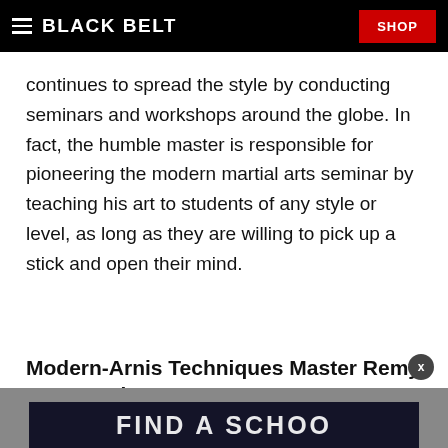BLACK BELT | SHOP
continues to spread the style by conducting seminars and workshops around the globe. In fact, the humble master is responsible for pioneering the modern martial arts seminar by teaching his art to students of any style or level, as long as they are willing to pick up a stick and open their mind.
Modern-Arnis Techniques Master Remy Presas: The Man
[Figure (other): Dark banner at bottom with text FIND A SCHOOL partially visible]